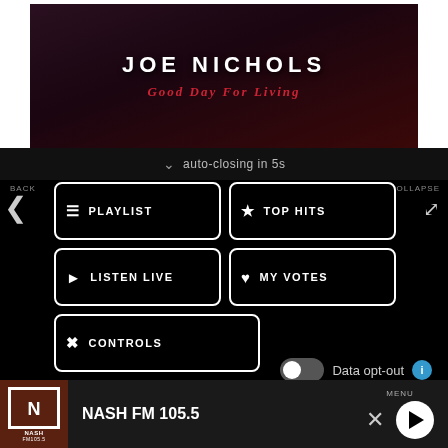[Figure (photo): Joe Nichols 'Good Day For Living' album art — dark moody background with white artist name text and red italic album title]
auto-closing in 5s
BACK
COLLAPSE
PLAYLIST
TOP HITS
LISTEN LIVE
MY VOTES
CONTROLS
Data opt-out
NASH FM 105.5
NASH FM 105.5
MENU